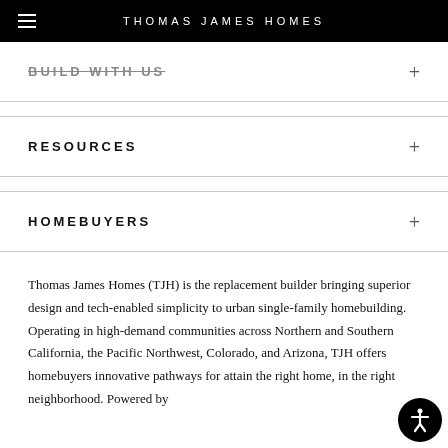THOMAS JAMES HOMES
BUILD WITH US
RESOURCES
HOMEBUYERS
Thomas James Homes (TJH) is the replacement builder bringing superior design and tech-enabled simplicity to urban single-family homebuilding. Operating in high-demand communities across Northern and Southern California, the Pacific Northwest, Colorado, and Arizona, TJH offers homebuyers innovative pathways for attaining the right home, in the right neighborhood. Powered by proprietary technology, TJH delivers automated...